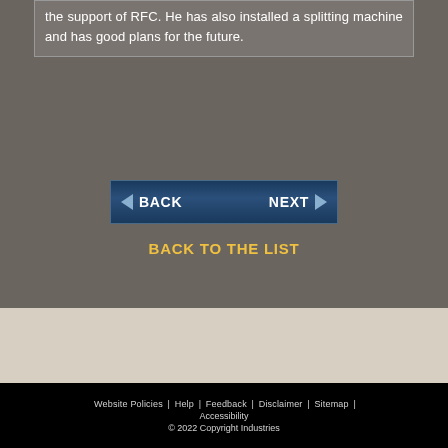the support of RFC. He has also installed a splitting machine and has good plans for the future.
[Figure (screenshot): Navigation buttons: BACK (with left arrow) and NEXT (with right arrow) on a dark blue background]
BACK TO THE LIST
Website Policies | Help | Feedback | Disclaimer | Sitemap | Accessibility © 2022 Copyright Industries